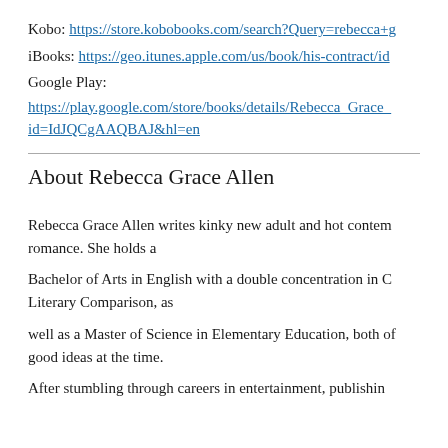Kobo: https://store.kobobooks.com/search?Query=rebecca+g
iBooks: https://geo.itunes.apple.com/us/book/his-contract/id
Google Play:
https://play.google.com/store/books/details/Rebecca_Grace_id=IdJQCgAAQBAJ&hl=en
About Rebecca Grace Allen
Rebecca Grace Allen writes kinky new adult and hot contem romance. She holds a
Bachelor of Arts in English with a double concentration in C Literary Comparison, as
well as a Master of Science in Elementary Education, both of good ideas at the time.
After stumbling through careers in entertainment, publishin